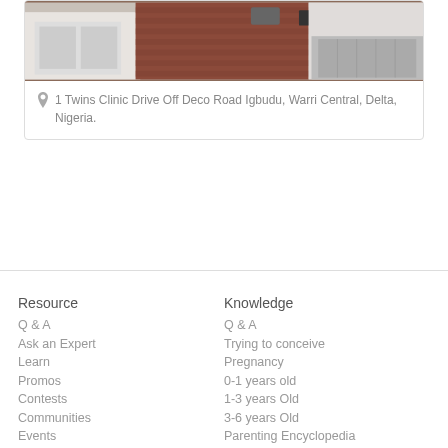[Figure (photo): Exterior photo of a building — brick facade, white walls, garage area visible]
1 Twins Clinic Drive Off Deco Road Igbudu, Warri Central, Delta, Nigeria.
Resource
Q & A
Ask an Expert
Learn
Promos
Contests
Communities
Events
Mobile App
Knowledge
Q & A
Trying to conceive
Pregnancy
0-1 years old
1-3 years Old
3-6 years Old
Parenting Encyclopedia
Videos